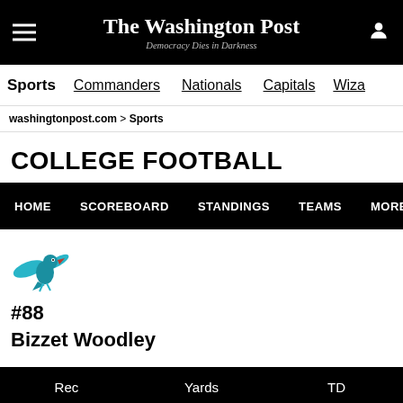The Washington Post — Democracy Dies in Darkness
Sports | Commanders | Nationals | Capitals | Wiza
washingtonpost.com > Sports
COLLEGE FOOTBALL
HOME | SCOREBOARD | STANDINGS | TEAMS | MORE...
[Figure (logo): Team logo — stylized bird/hornet mascot in teal and red]
#88
Bizzet Woodley
| Rec | Yards | TD |
| --- | --- | --- |